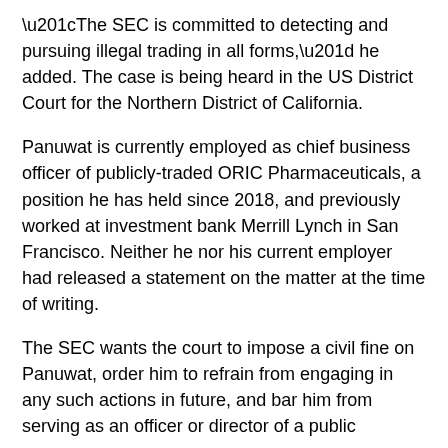“The SEC is committed to detecting and pursuing illegal trading in all forms,” he added. The case is being heard in the US District Court for the Northern District of California.
Panuwat is currently employed as chief business officer of publicly-traded ORIC Pharmaceuticals, a position he has held since 2018, and previously worked at investment bank Merrill Lynch in San Francisco. Neither he nor his current employer had released a statement on the matter at the time of writing.
The SEC wants the court to impose a civil fine on Panuwat, order him to refrain from engaging in any such actions in future, and bar him from serving as an officer or director of a public company.
At the time of his Incyte trades, he had spent over 15 years in the biopharmaceutical industry and had “significant knowledge and experience” of